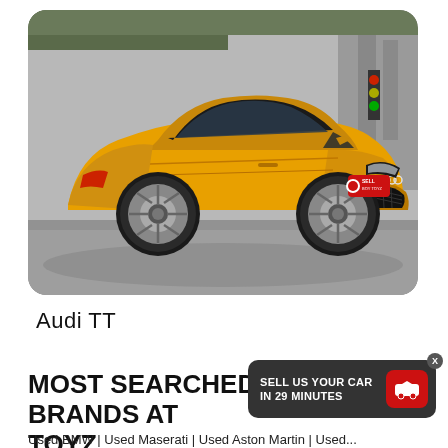[Figure (photo): A yellow Audi TT sports car photographed from the front-left angle on a street. The car has large alloy wheels and a black front grille. The photo has rounded corners.]
Audi TT
MOST SEARCHED BRANDS AT TOYZ
Used BMW | Used Maserati | Used Aston Martin | Used...